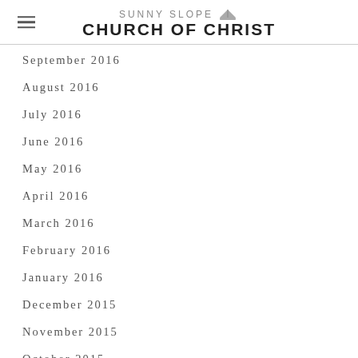Sunny Slope Church of Christ
September 2016
August 2016
July 2016
June 2016
May 2016
April 2016
March 2016
February 2016
January 2016
December 2015
November 2015
October 2015